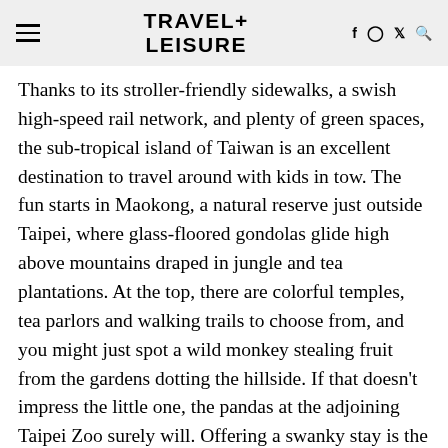TRAVEL+ LEISURE
Thanks to its stroller-friendly sidewalks, a swish high-speed rail network, and plenty of green spaces, the sub-tropical island of Taiwan is an excellent destination to travel around with kids in tow. The fun starts in Maokong, a natural reserve just outside Taipei, where glass-floored gondolas glide high above mountains draped in jungle and tea plantations. At the top, there are colorful temples, tea parlors and walking trails to choose from, and you might just spot a wild monkey stealing fruit from the gardens dotting the hillside. If that doesn't impress the little one, the pandas at the adjoining Taipei Zoo surely will. Offering a swanky stay is the new Kimpton Da An (doubles from NT$10,400), a smart design hotel by the Zhongxiao Fuxing MRT; parents with younger ones might prefer the Grand Hyatt Taipei (NT$6,270), which has cribs and sofa beds